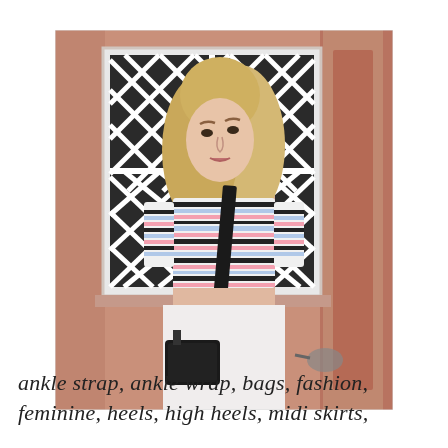[Figure (photo): Street style fashion photo of a blonde woman wearing a striped crop top with pink, blue, and black horizontal stripes and a black crossbody bag strap, standing in front of a pink/terracotta building with a white diamond-lattice window.]
ankle strap, ankle wrap, bags, fashion, feminine, heels, high heels, midi skirts,